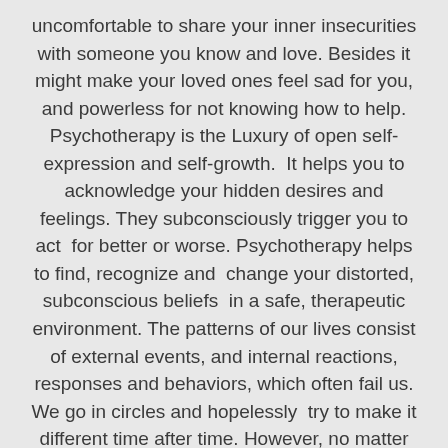uncomfortable to share your inner insecurities with someone you know and love. Besides it might make your loved ones feel sad for you, and powerless for not knowing how to help.
Psychotherapy is the Luxury of open self-expression and self-growth.  It helps you to acknowledge your hidden desires and feelings. They subconsciously trigger you to act  for better or worse. Psychotherapy helps to find, recognize and  change your distorted, subconscious beliefs  in a safe, therapeutic environment. The patterns of our lives consist of external events, and internal reactions, responses and behaviors, which often fail us. We go in circles and hopelessly  try to make it different time after time. However, no matter how hard  we try, we still can not change anything. We are not able to see